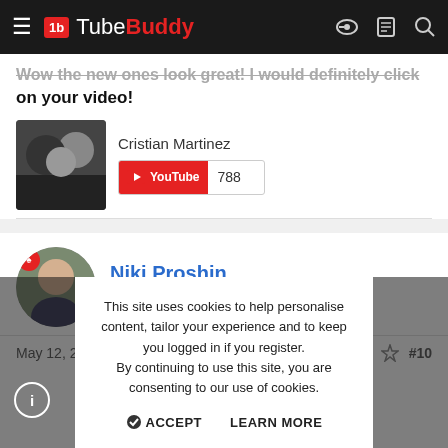TubeBuddy
Wow the new ones look great! I would definitely click on your video!
Cristian Martinez
[Figure (screenshot): YouTube subscriber badge showing 788 subscribers]
Niki Proshin
Known Member
May 12, 2020
#10
This site uses cookies to help personalise content, tailor your experience and to keep you logged in if you register.
By continuing to use this site, you are consenting to our use of cookies.
ACCEPT   LEARN MORE